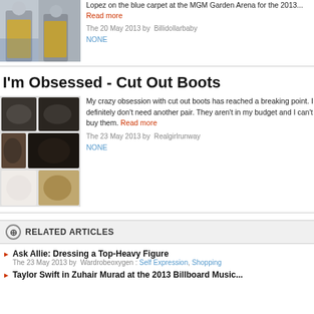[Figure (photo): Two women in sparkly outfits on blue carpet at MGM Garden Arena]
Lopez on the blue carpet at the MGM Garden Arena for the 2013... Read more
The 20 May 2013 by Billidollarbaby NONE
I'm Obsessed - Cut Out Boots
[Figure (photo): Collage of various cut out boots in black, brown, tan, and white]
My crazy obsession with cut out boots has reached a breaking point. I definitely don't need another pair. They aren't in my budget and I can't buy them. Read more
The 23 May 2013 by Realgirlrunway NONE
RELATED ARTICLES
Ask Allie: Dressing a Top-Heavy Figure — The 23 May 2013 by Wardrobeoxygen : Self Expression, Shopping
Taylor Swift in Zuhair Murad at the 2013 Billboard Music...